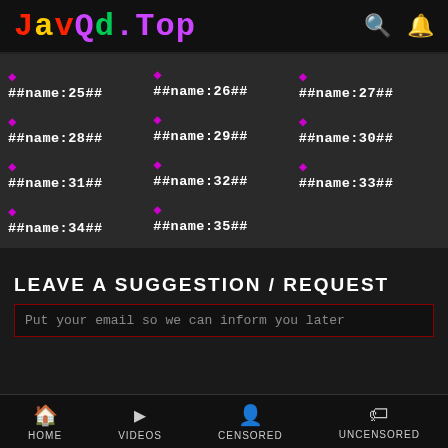JavQd.Top
##name:25##
##name:26##
##name:27##
##name:28##
##name:29##
##name:30##
##name:31##
##name:32##
##name:33##
##name:34##
##name:35##
LEAVE A SUGGESTION / REQUEST
Put your email so we can inform you later
HOME  VIDEOS  CENSORED  UNCENSORED